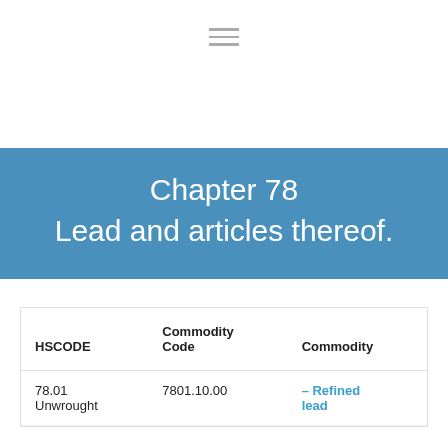[Figure (other): Hamburger menu icon with three horizontal lines]
Chapter 78
Lead and articles thereof.
| HSCODE | Commodity Code | Commodity |
| --- | --- | --- |
| 78.01
Unwrought | 7801.10.00 | – Refined lead |